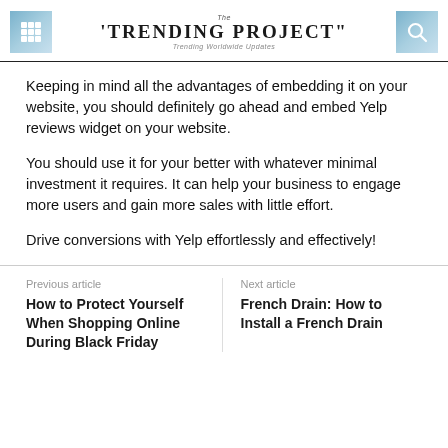The Trending Project – Trending Worldwide Updates
Keeping in mind all the advantages of embedding it on your website, you should definitely go ahead and embed Yelp reviews widget on your website.
You should use it for your better with whatever minimal investment it requires. It can help your business to engage more users and gain more sales with little effort.
Drive conversions with Yelp effortlessly and effectively!
Previous article
How to Protect Yourself When Shopping Online During Black Friday
Next article
French Drain: How to Install a French Drain